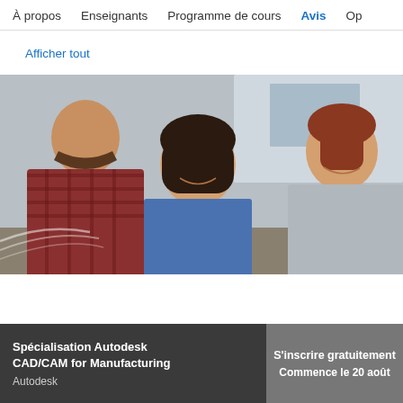À propos   Enseignants   Programme de cours   Avis   Op
Afficher tout
[Figure (photo): Three people looking at something together, smiling — a man in a plaid shirt on the left, a woman with dark hair in the center, and a woman with auburn hair on the right, in an office/workshop setting.]
Spécialisation Autodesk CAD/CAM for Manufacturing
Autodesk
S'inscrire gratuitement
Commence le 20 août